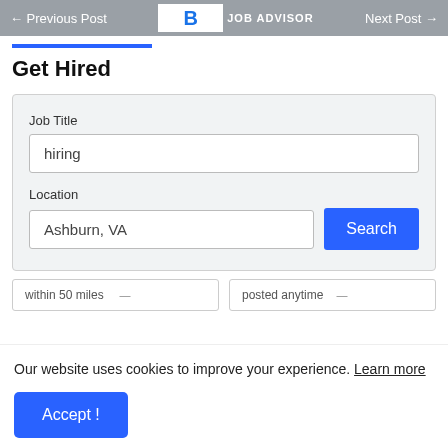← Previous Post   Job Advisor   Next Post →
Get Hired
Job Title
hiring
Location
Ashburn, VA
within 50 miles
posted anytime
Our website uses cookies to improve your experience. Learn more
Accept !